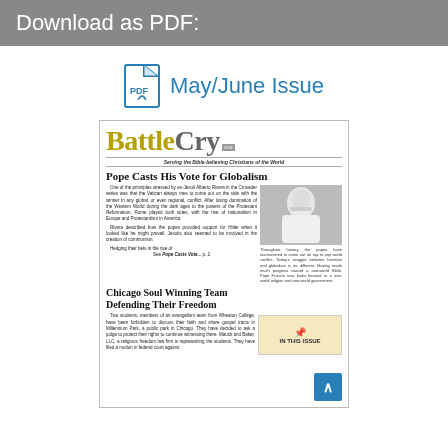Download as PDF:
May/June Issue
[Figure (screenshot): Preview thumbnail of the Battle Cry newsletter front page, showing the masthead 'BattleCry - Serving the Bible-believing Christians of the World', with two article previews: 'Pope Casts His Vote for Globalism' with a photo of Pope Francis, and 'Chicago Soul Winning Team Defending Their Freedom' with an 'IN THIS ISSUE' sidebar box.]